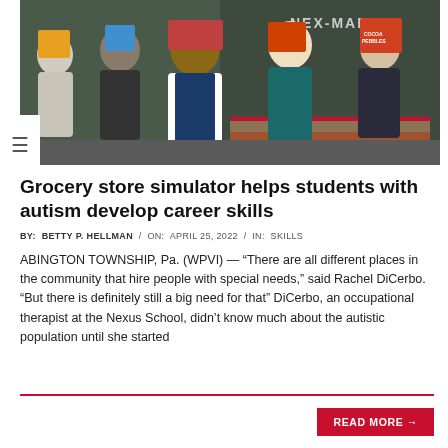[Figure (photo): Group of students with autism holding cereal boxes in a classroom set up as a mock grocery store called NEX-MART, with a chalkboard in the background]
Grocery store simulator helps students with autism develop career skills
BY:  BETTY P. HELLMAN  /  ON:  APRIL 25, 2022  /  IN:  SKILLS
ABINGTON TOWNSHIP, Pa. (WPVI) — “There are all different places in the community that hire people with special needs,” said Rachel DiCerbo. “But there is definitely still a big need for that” DiCerbo, an occupational therapist at the Nexus School, didn’t know much about the autistic population until she started
READ MORE →